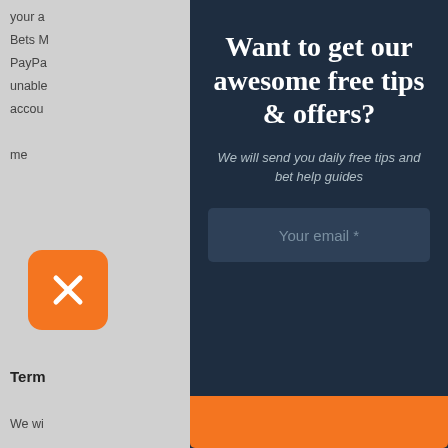your a
Bets M
PayPa
unable
accou
me
Term
We wi
(a
Co
te
we
yo
(b
[Figure (screenshot): Orange close button with white X]
Want to get our awesome free tips & offers?
We will send you daily free tips and bet help guides
Your email *